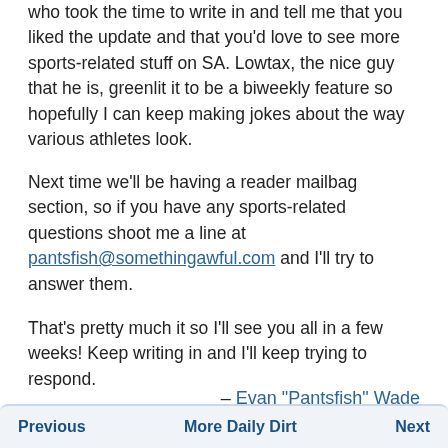who took the time to write in and tell me that you liked the update and that you'd love to see more sports-related stuff on SA. Lowtax, the nice guy that he is, greenlit it to be a biweekly feature so hopefully I can keep making jokes about the way various athletes look.
Next time we'll be having a reader mailbag section, so if you have any sports-related questions shoot me a line at pantsfish@somethingawful.com and I'll try to answer them.
That's pretty much it so I'll see you all in a few weeks! Keep writing in and I'll keep trying to respond.
– Evan "Pantsfish" Wade
Previous | More Daily Dirt | Next